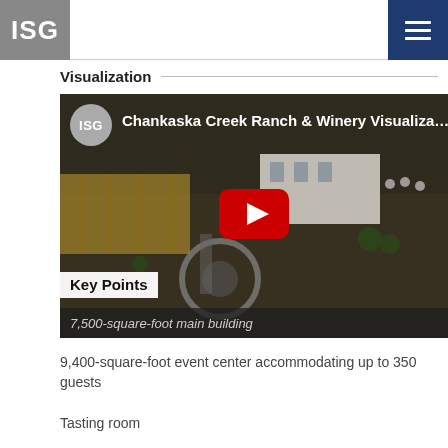ISG
Visualization
[Figure (screenshot): YouTube video thumbnail for 'Chankaska Creek Ranch & Winery Visualization' showing an aerial view of a winery property with a play button overlay. ISG logo avatar visible in top-left. Key Points label and '7,500-square-foot main building' text overlaid at bottom.]
9,400-square-foot event center accommodating up to 350 guests
Tasting room